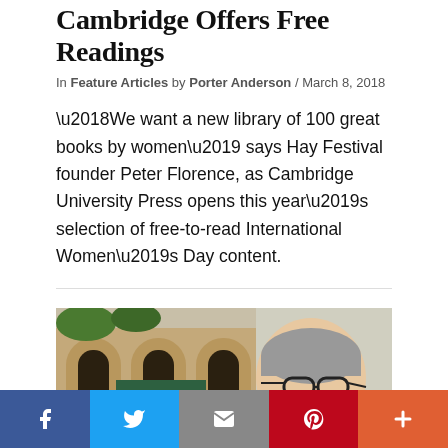Cambridge Offers Free Readings
In Feature Articles by Porter Anderson / March 8, 2018
‘We want a new library of 100 great books by women’ says Hay Festival founder Peter Florence, as Cambridge University Press opens this year’s selection of free-to-read International Women’s Day content.
[Figure (photo): Photo of a smiling person with short grey hair and glasses, standing outdoors in front of an archway building with a green awning, likely in a city centre.]